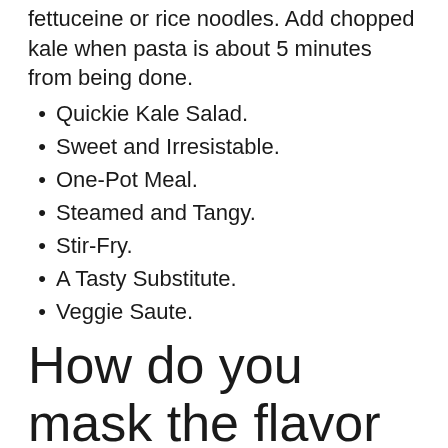fettuceine or rice noodles. Add chopped kale when pasta is about 5 minutes from being done.
Quickie Kale Salad.
Sweet and Irresistable.
One-Pot Meal.
Steamed and Tangy.
Stir-Fry.
A Tasty Substitute.
Veggie Saute.
How do you mask the flavor of kale?
Kale chips are a great way to mask the bitter taste and rough texture of this leafy green. Rip or cut two-inch pieces off a head of kale, drizzle on some olive